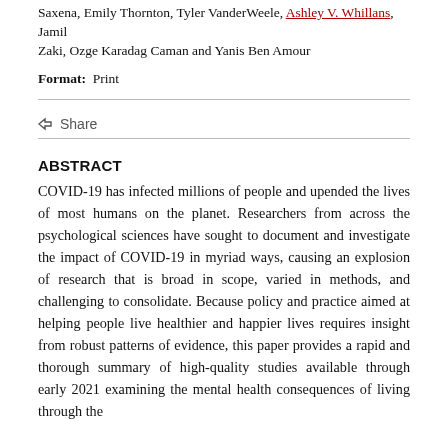Saxena, Emily Thornton, Tyler VanderWeele, Ashley V. Whillans, Jamil Zaki, Ozge Karadag Caman and Yanis Ben Amour
Format: Print
< Share
ABSTRACT
COVID-19 has infected millions of people and upended the lives of most humans on the planet. Researchers from across the psychological sciences have sought to document and investigate the impact of COVID-19 in myriad ways, causing an explosion of research that is broad in scope, varied in methods, and challenging to consolidate. Because policy and practice aimed at helping people live healthier and happier lives requires insight from robust patterns of evidence, this paper provides a rapid and thorough summary of high-quality studies available through early 2021 examining the mental health consequences of living through the